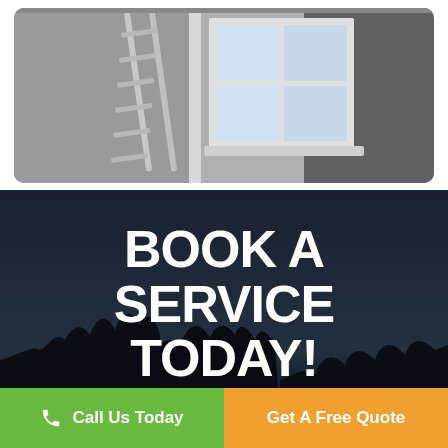[Figure (photo): Photo of a building exterior with a ladder leaning against the wall and a window with light inside, on a grey facade.]
BOOK A SERVICE TODAY!
[Figure (illustration): Dark silhouette of trees against a dark navy night sky background.]
Call Us Today
Get A Free Quote